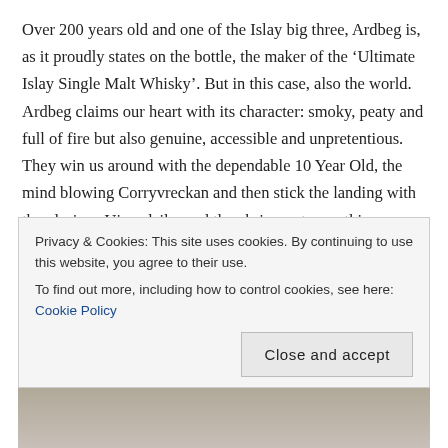Over 200 years old and one of the Islay big three, Ardbeg is, as it proudly states on the bottle, the maker of the 'Ultimate Islay Single Malt Whisky'. But in this case, also the world. Ardbeg claims our heart with its character: smoky, peaty and full of fire but also genuine, accessible and unpretentious. They win us around with the dependable 10 Year Old, the mind blowing Corryvreckan and then stick the landing with the glorious Uigeadail – and then bring out something excitingly new every year to please the fanboys!
Did the right distillery win? Too bad if not, you guys voted for it, so it's your fault if it's wrong. But let us know your thoughts anyway!
Privacy & Cookies: This site uses cookies. By continuing to use this website, you agree to their use.
To find out more, including how to control cookies, see here: Cookie Policy
Close and accept
[Figure (photo): Partial photo strip at the bottom of the page showing what appears to be a person]